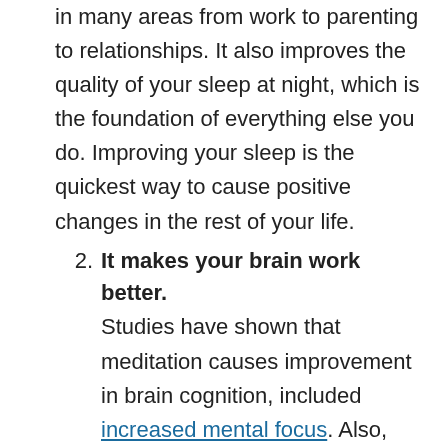in many areas from work to parenting to relationships. It also improves the quality of your sleep at night, which is the foundation of everything else you do. Improving your sleep is the quickest way to cause positive changes in the rest of your life.
2. It makes your brain work better. Studies have shown that meditation causes improvement in brain cognition, included increased mental focus. Also, when you are in the present moment and clear-headed, you tend to make better decisions. When you are stressed, you tend to breathe more rapidly and shallowly, which means less oxygen is